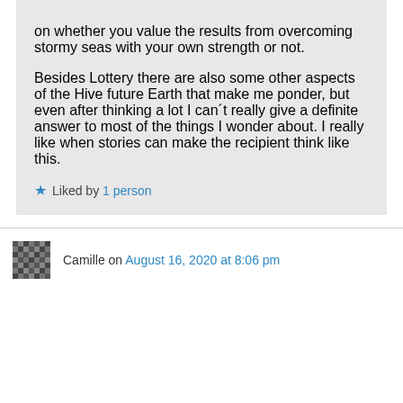on whether you value the results from overcoming stormy seas with your own strength or not.

Besides Lottery there are also some other aspects of the Hive future Earth that make me ponder, but even after thinking a lot I can´t really give a definite answer to most of the things I wonder about. I really like when stories can make the recipient think like this.
★ Liked by 1 person
Camille on August 16, 2020 at 8:06 pm